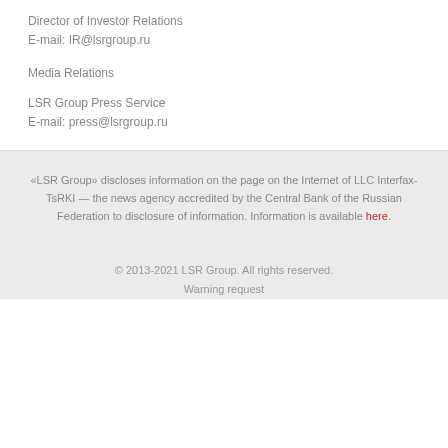Director of Investor Relations
E-mail: IR@lsrgroup.ru
Media Relations
LSR Group Press Service
E-mail: press@lsrgroup.ru
«LSR Group» discloses information on the page on the Internet of LLC Interfax-TsRKI — the news agency accredited by the Central Bank of the Russian Federation to disclosure of information. Information is available here.
© 2013-2021 LSR Group. All rights reserved.
Warning request